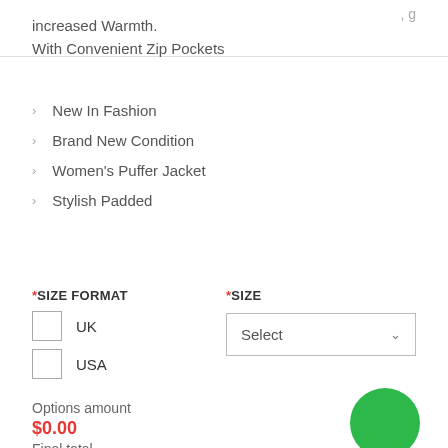increased Warmth.
With Convenient Zip Pockets
New In Fashion
Brand New Condition
Women's Puffer Jacket
Stylish Padded
*SIZE FORMAT
*SIZE
UK
USA
Select
Options amount
$0.00
Final total